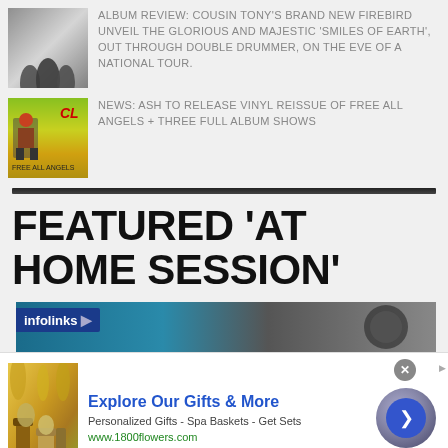[Figure (photo): Silhouette of band members against bright background]
ALBUM REVIEW: COUSIN TONY'S BRAND NEW FIREBIRD UNVEIL THE GLORIOUS AND MAJESTIC 'SMILES OF EARTH', OUT THROUGH DOUBLE DRUMMER, ON THE EVE OF A NATIONAL TOUR.
[Figure (photo): Ash - Free All Angels album cover with yellow-green background]
NEWS: ASH TO RELEASE VINYL REISSUE OF FREE ALL ANGELS + THREE FULL ALBUM SHOWS
FEATURED 'AT HOME SESSION'
[Figure (screenshot): Partial preview image of at home session video with infolinks bar overlay]
[Figure (other): Advertisement: Explore Our Gifts & More - 1800flowers.com - Personalized Gifts, Spa Baskets, Get Sets]